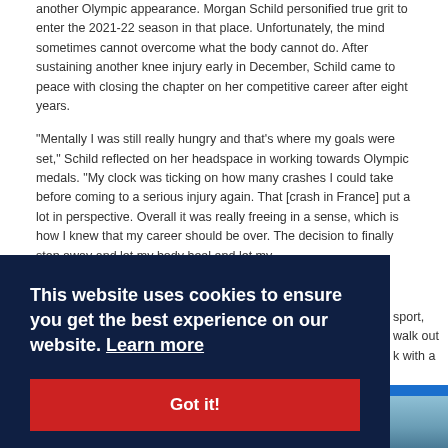another Olympic appearance. Morgan Schild personified true grit to enter the 2021-22 season in that place. Unfortunately, the mind sometimes cannot overcome what the body cannot do. After sustaining another knee injury early in December, Schild came to peace with closing the chapter on her competitive career after eight years.
"Mentally I was still really hungry and that's where my goals were set," Schild reflected on her headspace in working towards Olympic medals. "My clock was ticking on how many crashes I could take before coming to a serious injury again. That [crash in France] put a lot in perspective. Overall it was really freeing in a sense, which is how I knew that my career should be over. The decision to finally step away and let my body heal and let my
sport, walk out k with a
[Figure (screenshot): Cookie consent overlay banner with dark navy background. Text reads: 'This website uses cookies to ensure you get the best experience on our website. Learn more' with a red 'Got it!' button below. Partially visible blue 'ofile' (profile) button to the right.]
[Figure (photo): Bottom of page shows the top of a photograph, appearing to be a winter/mountain scene with blue sky tones.]